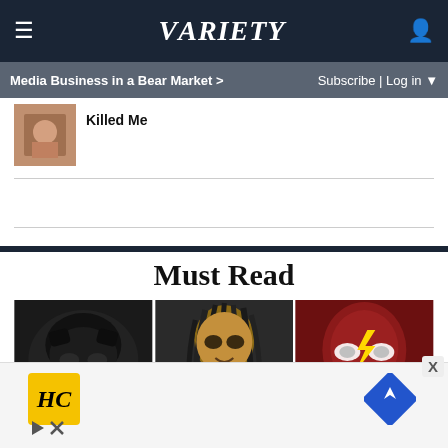VARIETY
Media Business in a Bear Market > | Subscribe | Log in
Killed Me
Must Read
[Figure (photo): Three superhero images side by side: Batman (dark mask), Aquaman (long dark hair), The Flash (red mask)]
[Figure (other): Advertisement with HC yellow logo and blue navigation diamond icon]